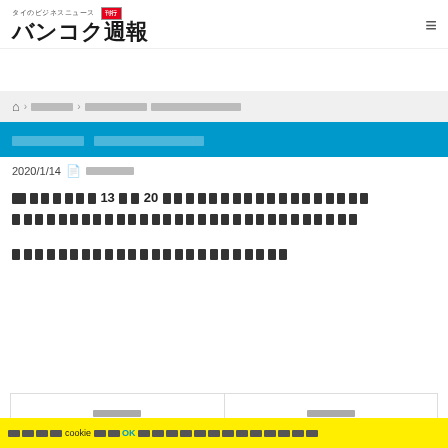タイのビジネスニュース　バンコク週報
（breadcrumb navigation）
（article category）　（article title）
2020/1/14　（author）
（article body paragraph 1 with numbers 13 and 20）
（article body paragraph 2）
（article sub-heading / continuation）
（cookie notice including: cookie … OK）